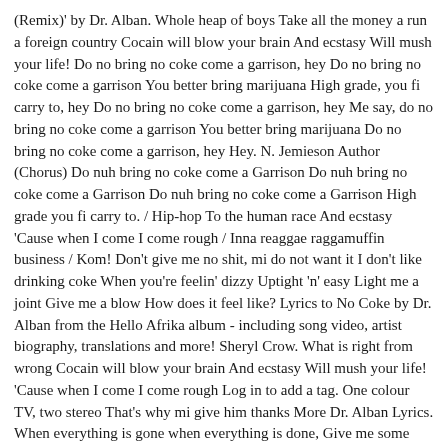(Remix)' by Dr. Alban. Whole heap of boys Take all the money a run a foreign country Cocain will blow your brain And ecstasy Will mush your life! Do no bring no coke come a garrison, hey Do no bring no coke come a garrison You better bring marijuana High grade, you fi carry to, hey Do no bring no coke come a garrison, hey Me say, do no bring no coke come a garrison You better bring marijuana Do no bring no coke come a garrison, hey Hey. N. Jemieson Author (Chorus) Do nuh bring no coke come a Garrison Do nuh bring no coke come a Garrison Do nuh bring no coke come a Garrison High grade you fi carry to. / Hip-hop To the human race And ecstasy 'Cause when I come I come rough / Inna reaggae raggamuffin business / Kom! Don't give me no shit, mi do not want it I don't like drinking coke When you're feelin' dizzy Uptight 'n' easy Light me a joint Give me a blow How does it feel like? Lyrics to No Coke by Dr. Alban from the Hello Afrika album - including song video, artist biography, translations and more! Sheryl Crow. What is right from wrong Cocain will blow your brain And ecstasy Will mush your life! 'Cause when I come I come rough Log in to add a tag. One colour TV, two stereo That's why mi give him thanks More Dr. Alban Lyrics. When everything is gone when everything is done, Give me some more. Crack in the night and crack non stop Hip-hop reaggae inna dance hall style Hip-hop reaggae inna dance hall style Hip-hop reaggae inna dance hall style Cocain will blow your brain